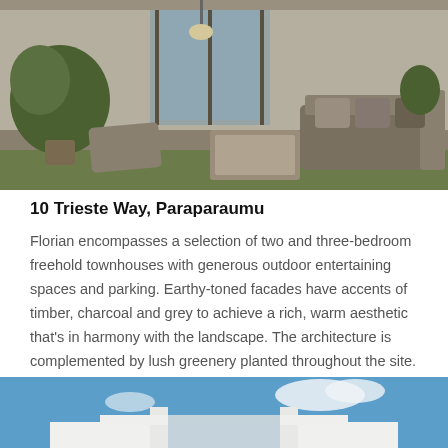[Figure (photo): Outdoor patio/terrace of a modern townhouse with wicker furniture, cushioned seating, plants, and glass doors leading inside]
10 Trieste Way, Paraparaumu
Florian encompasses a selection of two and three-bedroom freehold townhouses with generous outdoor entertaining spaces and parking. Earthy-toned facades have accents of timber, charcoal and grey to achieve a rich, warm aesthetic that's in harmony with the landscape. The architecture is complemented by lush greenery planted throughout the site.
SOLD
[Figure (photo): Modern white building facade against a blue sky with clouds, showing architectural entrance structure]